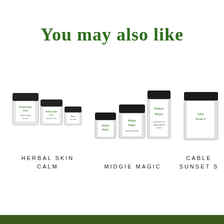You may also like
[Figure (photo): Three product jars of varying sizes labeled 'Herbal Skin Calm' with dark lids and white labels with green text]
[Figure (photo): Three product jars of varying sizes labeled 'Midgie Magic' with dark lids and white labels with green text]
[Figure (photo): Partially visible product jars labeled 'Cable Sunset S' with dark lids]
HERBAL SKIN CALM
MIDGIE MAGIC
CABLE SUNSET S